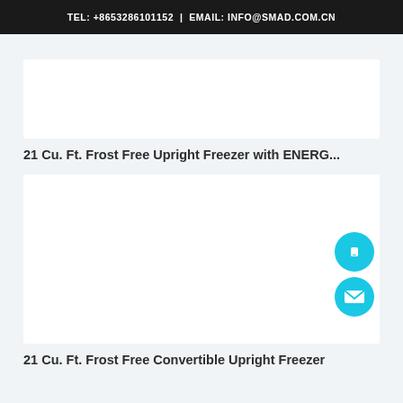TEL: +8653286101152 | EMAIL: INFO@SMAD.COM.CN
[Figure (photo): Product image area for upright freezer (white rectangle, image not loaded)]
21 Cu. Ft. Frost Free Upright Freezer with ENERG...
[Figure (photo): Product image area for convertible upright freezer (white rectangle, image not loaded)]
21 Cu. Ft. Frost Free Convertible Upright Freezer